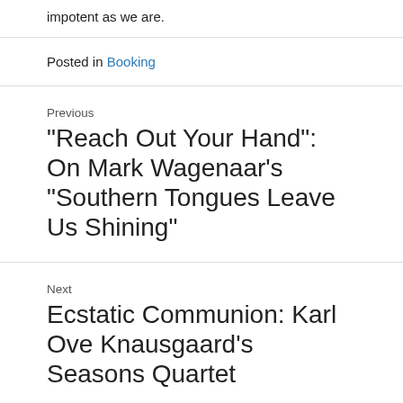impotent as we are.
Posted in Booking
Previous
“Reach Out Your Hand”: On Mark Wagenaar’s “Southern Tongues Leave Us Shining”
Next
Ecstatic Communion: Karl Ove Knausgaard’s Seasons Quartet